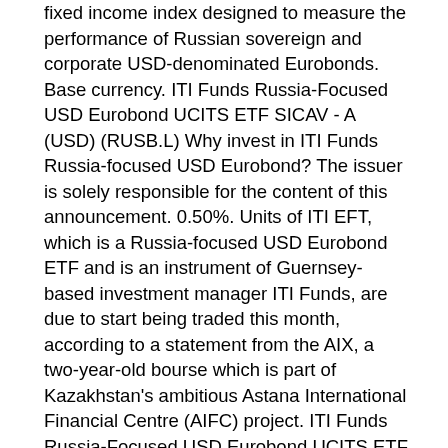fixed income index designed to measure the performance of Russian sovereign and corporate USD-denominated Eurobonds. Base currency. ITI Funds Russia-Focused USD Eurobond UCITS ETF SICAV - A (USD) (RUSB.L) Why invest in ITI Funds Russia-focused USD Eurobond? The issuer is solely responsible for the content of this announcement. 0.50%. Units of ITI EFT, which is a Russia-focused USD Eurobond ETF and is an instrument of Guernsey-based investment manager ITI Funds, are due to start being traded this month, according to a statement from the AIX, a two-year-old bourse which is part of Kazakhstan's ambitious Astana International Financial Centre (AIFC) project. ITI Funds Russia-Focused USD Eurobond UCITS ETF SICAV - A (USD) (RUSB.L) Investment in securities and other financial instruments always involves capital risk. See the company profile for ITI FUNDS UCITS ETF SICAV ITI R (RUSB.L) including business summary, industry/sector information, number of employees, last...